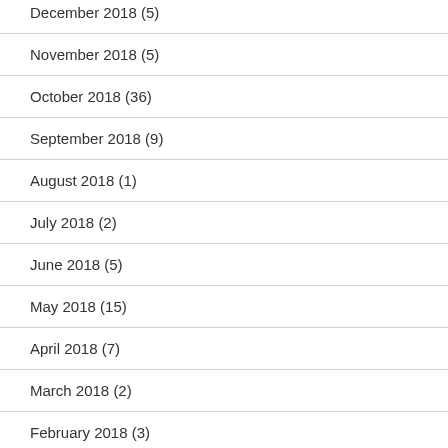December 2018 (5)
November 2018 (5)
October 2018 (36)
September 2018 (9)
August 2018 (1)
July 2018 (2)
June 2018 (5)
May 2018 (15)
April 2018 (7)
March 2018 (2)
February 2018 (3)
January 2018 (1)